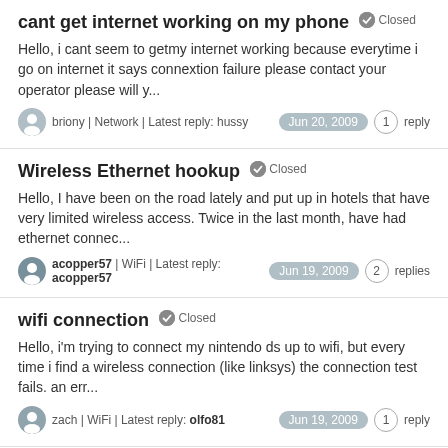cant get internet working on my phone Closed
Hello, i cant seem to getmy internet working because everytime i go on internet it says connextion failure please contact your operator please will y...
briony | Network | Latest reply: hussy   Jun 20, 2009   1 reply
Wireless Ethernet hookup Closed
Hello, I have been on the road lately and put up in hotels that have very limited wireless access. Twice in the last month, have had ethernet connec...
acopper57 | WiFi | Latest reply: acopper57   Jun 19, 2009   2 replies
wifi connection Closed
Hello, i'm trying to connect my nintendo ds up to wifi, but every time i find a wireless connection (like linksys) the connection test fails. an err...
zach | WiFi | Latest reply: olfo81   Jun 19, 2009   1 reply
Driver Problem Closed
Hello, I was using windows vista earlier but because of a problem i